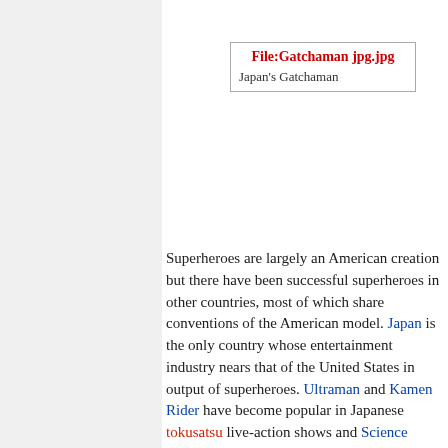[Figure (other): Placeholder box showing file link: File:Gatchaman jpg.jpg with caption Japan's Gatchaman]
Japan's Gatchaman
Superheroes are largely an American creation but there have been successful superheroes in other countries, most of which share conventions of the American model. Japan is the only country whose entertainment industry nears that of the United States in output of superheroes. Ultraman and Kamen Rider have become popular in Japanese tokusatsu live-action shows and Science Ninja Team Gatchaman and Sailor Moon are staples of Japanese anime and manga. Examples from other countries include Cybersix from Argentina, Captain Canuck from Canada, Marvelman